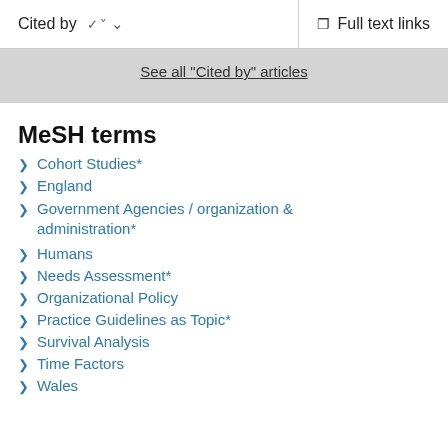Cited by   Full text links
See all "Cited by" articles
MeSH terms
Cohort Studies*
England
Government Agencies / organization & administration*
Humans
Needs Assessment*
Organizational Policy
Practice Guidelines as Topic*
Survival Analysis
Time Factors
Wales